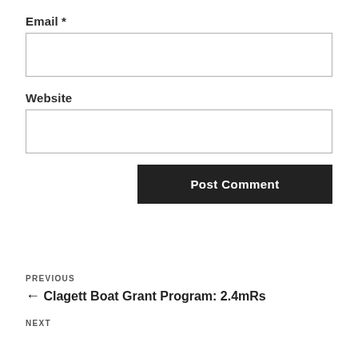Email *
Website
Post Comment
PREVIOUS
← Clagett Boat Grant Program: 2.4mRs
NEXT